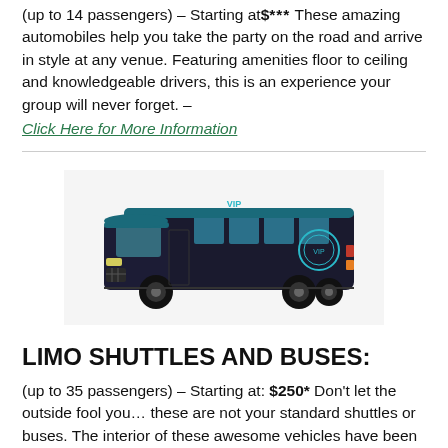(up to 14 passengers) – Starting at $*** These amazing automobiles help you take the party on the road and arrive in style at any venue. Featuring amenities floor to ceiling and knowledgeable drivers, this is an experience your group will never forget. –
Click Here for More Information
[Figure (photo): A large black party bus / limo shuttle with tinted windows and a company logo on the side, viewed from the front-left angle.]
LIMO SHUTTLES AND BUSES:
(up to 35 passengers) – Starting at: $250* Don't let the outside fool you… these are not your standard shuttles or buses. The interior of these awesome vehicles have been converted with all the amenities found in a limo; with more leg room, and features not even a limo can provide. Perfect for taking your party on the road and